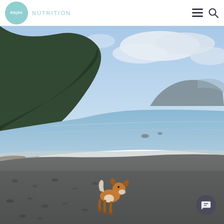RD Rx Nutrition — navigation header with logo, hamburger menu, and search icon
[Figure (photo): A small brown and white spaniel dog standing on a rocky/pebbly beach shoreline. Behind the dog is calm blue water, with steep forested mountains on the left side and a large rocky headland in the distance. The sky has blue patches with some clouds.]